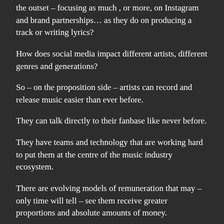the outset – focusing as much , or more, on Instagram and brand partnerships… as they do on producing a track or writing lyrics?
How does social media impact different artists, different genres and generations?
So – on the proposition side – artists can record and release music easier than ever before.
They can talk directly to their fanbase like never before.
They have teams and technology that are working hard to put them at the centre of the music industry ecosystem.
There are evolving models of remuneration that may – only time will tell – see them receive greater proportions and absolute amounts of money.